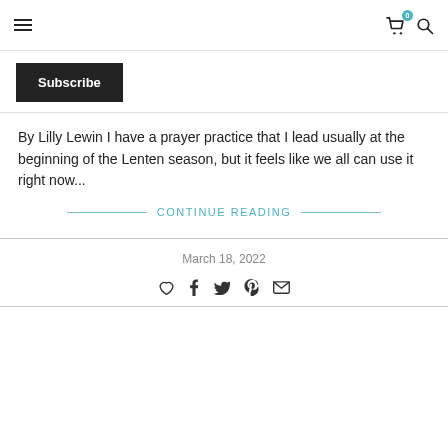Navigation header with hamburger menu, cart icon with badge 0, and search icon
Subscribe
By Lilly Lewin I have a prayer practice that I lead usually at the beginning of the Lenten season, but it feels like we all can use it right now...
CONTINUE READING
March 18, 2022
[Figure (other): Social sharing icons: heart, Facebook, Twitter, Pinterest, email]